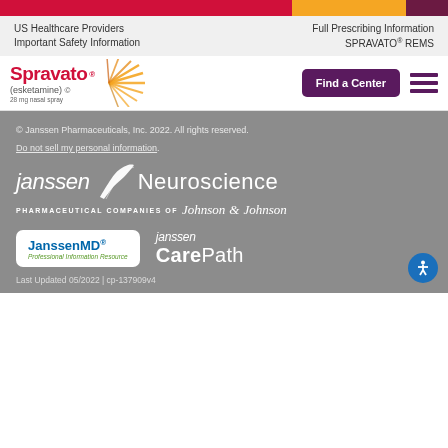US Healthcare Providers | Full Prescribing Information | Important Safety Information | SPRAVATO® REMS
[Figure (logo): Spravato (esketamine) logo with sunburst graphic and Find a Center button and hamburger menu]
© Janssen Pharmaceuticals, Inc. 2022. All rights reserved.
Do not sell my personal information.
[Figure (logo): Janssen Neuroscience logo - Pharmaceutical Companies of Johnson & Johnson]
[Figure (logo): JanssenMD Professional Information Resource logo and Janssen CarePath logo]
Last Updated 05/2022 | cp-137909v4